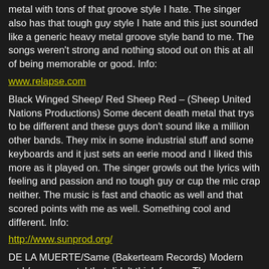metal with tons of that groove style I hate. The singer also has that tough guy style I hate and this just sounded like a generic heavy metal groove style band to me. The songs weren't strong and nothing stood out on this at all of being memorable or good. Info:
www.relapse.com
Black Winged Sheep/ Red Sheep Red – (Sheep United Nations Productions) Some decent death metal that trys to be different and these guys don't sound like a million other bands. They mix in some industrial stuff and some keyboards and it just sets an eerie mood and I liked this more as it played on. The singer growls out the lyrics with feeling and passion and no tough guy or cup the mic crap neither. The music is fast and chaotic as well and that scored points with me as well. Something cool and different. Info:
http://www.sunprod.org/
DE LA MUERTE/Same (Bakerteam Records) Modern rock/groove metal that didn't think for me. The songs were flat and boring and the only thing good on this is the singer isn't bad, but with the faceless music like this he didn't have much to work with. Info
http://www.scarletrecords.it
CAULDRON OF HATE (Traitor (Inverse Records) Typical d...